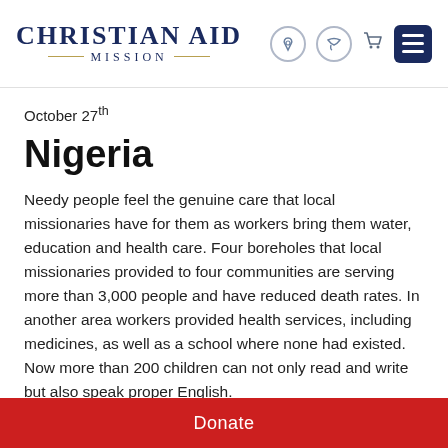Christian Aid Mission
October 27th
Nigeria
Needy people feel the genuine care that local missionaries have for them as workers bring them water, education and health care. Four boreholes that local missionaries provided to four communities are serving more than 3,000 people and have reduced death rates. In another area workers provided health services, including medicines, as well as a school where none had existed. Now more than 200 children can not only read and write but also speak proper English.
Donate